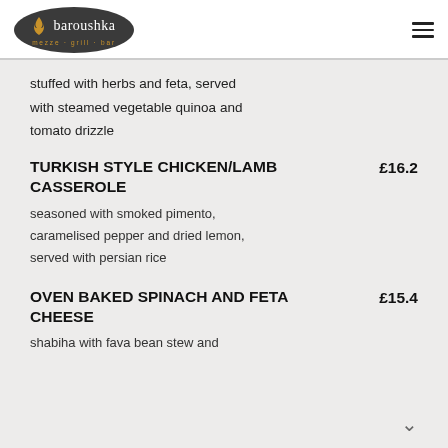[Figure (logo): Baroushka restaurant logo - dark oval shape with flame icon and text 'baroushka mezze · grill · bar']
stuffed with herbs and feta, served with steamed vegetable quinoa and tomato drizzle
TURKISH STYLE CHICKEN/LAMB CASSEROLE
£16.2
seasoned with smoked pimento, caramelised pepper and dried lemon, served with persian rice
OVEN BAKED SPINACH AND FETA CHEESE
£15.4
shabiha with fava bean stew and